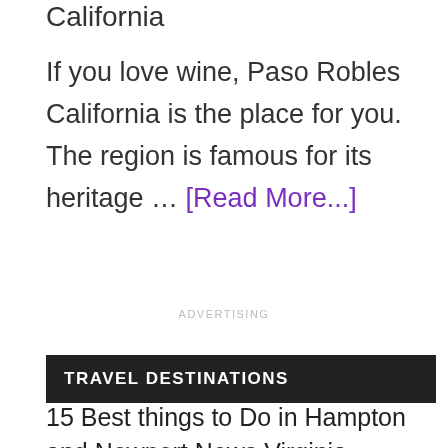California
If you love wine, Paso Robles California is the place for you. The region is famous for its heritage … [Read More...]
ADVERTISING
TRAVEL DESTINATIONS
15 Best things to Do in Hampton and Newport News Virginia